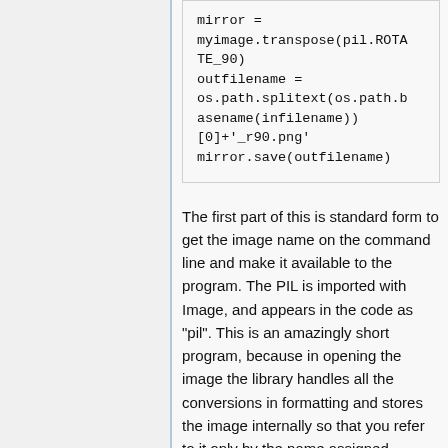mirror = myimage.transpose(pil.ROTATE_90)
outfilename = os.path.splitext(os.path.basename(infilename))[0]+'_r90.png'
mirror.save(outfilename)
The first part of this is standard form to get the image name on the command line and make it available to the program. The PIL is imported with Image, and appears in the code as "pil". This is an amazingly short program, because in opening the image the library handles all the conversions in formatting and stores the image internally so that you refer to it only by the name assigned